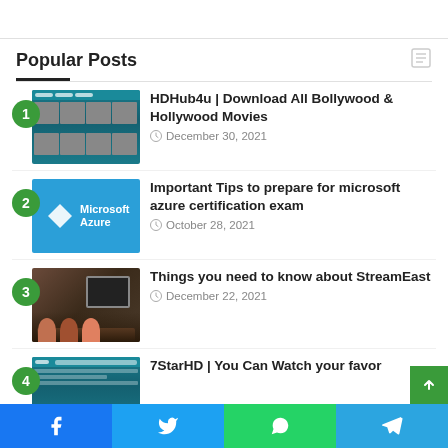Popular Posts
HDHub4u | Download All Bollywood & Hollywood Movies — December 30, 2021
Important Tips to prepare for microsoft azure certification exam — October 28, 2021
Things you need to know about StreamEast — December 22, 2021
7StarHD | You Can Watch your favor
Facebook | Twitter | WhatsApp | Telegram